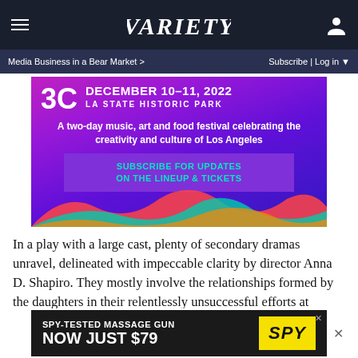VARIETY
[Figure (advertisement): 3C music festival advertisement: DECEMBER 10-11, 2022 LA STATE HISTORIC PARK. A two-day music, art and food festival celebrating the creativity and culture of Los Angeles. SUBSCRIBE FOR UPDATES ON THE LINEUP & TICKETS]
In a play with a large cast, plenty of secondary dramas unravel, delineated with impeccable clarity by director Anna D. Shapiro. They mostly involve the relationships formed by the daughters in their relentlessly unsuccessful efforts at idealized family: Barbara's failing marriage to Bil
[Figure (advertisement): SPY-TESTED MASSAGE GUN NOW JUST $79 SPY]